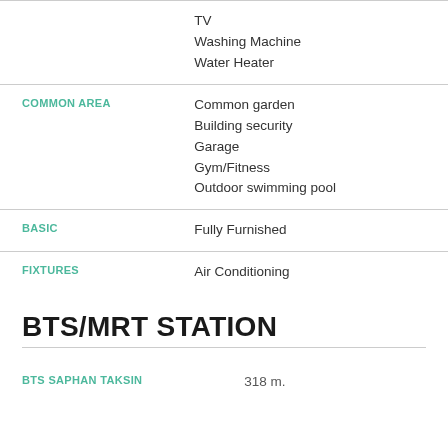| Category | Details |
| --- | --- |
|  | TV
Washing Machine
Water Heater |
| COMMON AREA | Common garden
Building security
Garage
Gym/Fitness
Outdoor swimming pool |
| BASIC | Fully Furnished |
| FIXTURES | Air Conditioning |
BTS/MRT STATION
| Station | Distance |
| --- | --- |
| BTS SAPHAN TAKSIN | 318 m. |